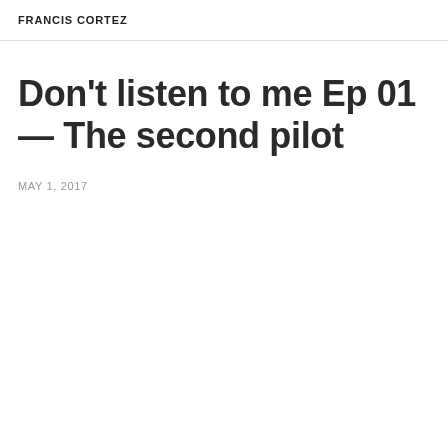FRANCIS CORTEZ
Don't listen to me Ep 01 — The second pilot
MAY 1, 2017